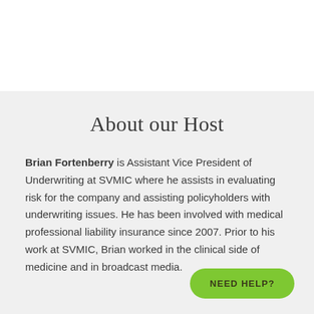About our Host
Brian Fortenberry is Assistant Vice President of Underwriting at SVMIC where he assists in evaluating risk for the company and assisting policyholders with underwriting issues. He has been involved with medical professional liability insurance since 2007. Prior to his work at SVMIC, Brian worked in the clinical side of medicine and in broadcast media.
NEED HELP?